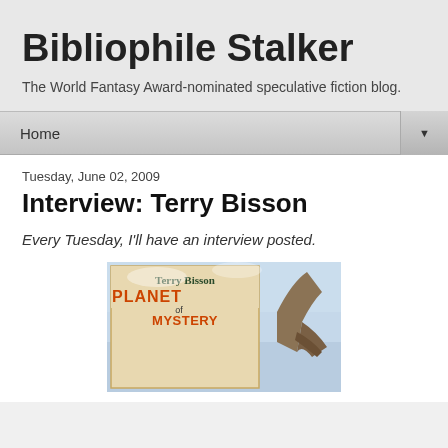Bibliophile Stalker
The World Fantasy Award-nominated speculative fiction blog.
Home
Tuesday, June 02, 2009
Interview: Terry Bisson
Every Tuesday, I'll have an interview posted.
[Figure (photo): Book cover for 'Planet of Mystery' by Terry Bisson, showing the title text and a partial illustration of what appears to be a rocket or spacecraft against a sky background.]